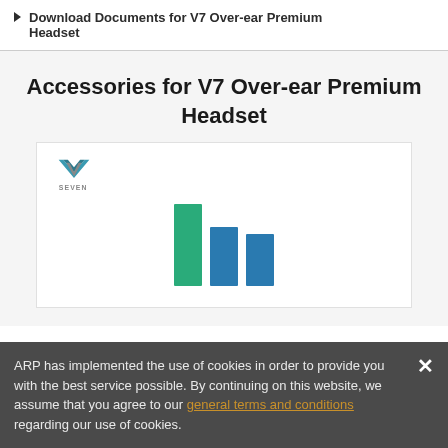Download Documents for V7 Over-ear Premium Headset
Accessories for V7 Over-ear Premium Headset
[Figure (logo): V7 SEVEN brand logo with teal and grey chevron mark above the word SEVEN]
[Figure (other): Loading indicator with green and blue vertical bars of varying heights]
ARP has implemented the use of cookies in order to provide you with the best service possible. By continuing on this website, we assume that you agree to our general terms and conditions regarding our use of cookies.